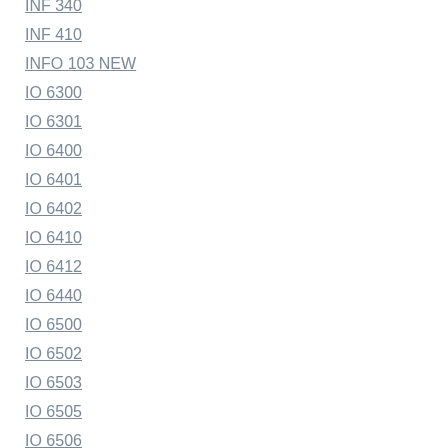INF 340
INF 410
INFO 103 NEW
IO 6300
IO 6301
IO 6400
IO 6401
IO 6402
IO 6410
IO 6412
IO 6440
IO 6500
IO 6502
IO 6503
IO 6505
IO 6506
IO 6600
IS 235